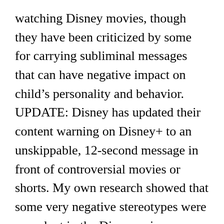watching Disney movies, though they have been criticized by some for carrying subliminal messages that can have negative impact on child's personality and behavior. UPDATE: Disney has updated their content warning on Disney+ to an unskippable, 12-second message in front of controversial movies or shorts. My own research showed that some very negative stereotypes were prevalent in the Disney princess movies. Oh My Disney Contributor We've learned so many things from Mulan over the years that we thought we'd compile our favorite bits of wisdom for you, because we like you. Tap here to turn on desktop notifications to get the news sent straight to you. The Disney princess movies all integrated him...